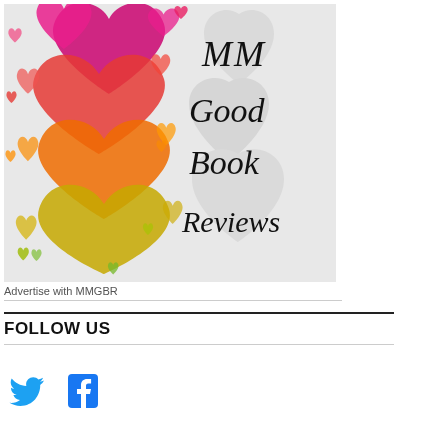[Figure (logo): MM Good Book Reviews logo featuring a cascade of colorful hearts (pink, magenta, red, orange, yellow, green) on the left side and the text 'MM Good Book Reviews' in cursive black font on a light grey background with large white heart shapes.]
Advertise with MMGBR
FOLLOW US
[Figure (other): Social media icons: Twitter bird icon (blue) and Facebook 'f' icon (blue)]